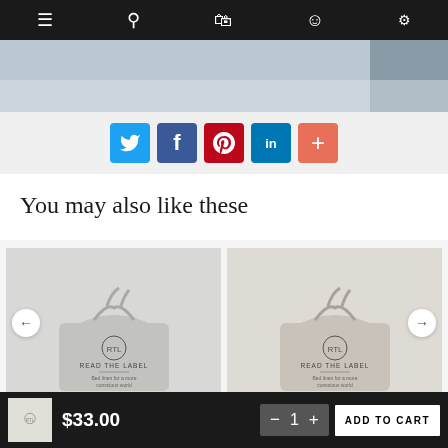[Figure (screenshot): Navigation bar with hamburger menu, search, cart, account, and filter icons on dark background]
[Figure (photo): Partial hero image showing bed linen scene in grey/blue tones]
[Figure (infographic): Social sharing buttons: Twitter (blue), Facebook (dark blue), Pinterest (red), LinkedIn (blue), Plus/More (coral/orange)]
You may also like these
[Figure (photo): Product photo of grey linen bag with 'READ THE LABEL - Bed linen for a more conscious world' branding]
[Figure (photo): Product photo of beige/cream linen bag with 'READ THE LABEL - Bed linen for a more conscious world' branding]
[Figure (screenshot): Add to cart bar at bottom: product thumbnail, $33.00 price, quantity control with minus/1/plus, ADD TO CART button]